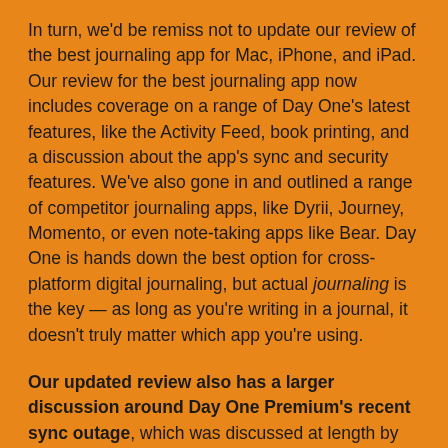In turn, we'd be remiss not to update our review of the best journaling app for Mac, iPhone, and iPad. Our review for the best journaling app now includes coverage on a range of Day One's latest features, like the Activity Feed, book printing, and a discussion about the app's sync and security features. We've also gone in and outlined a range of competitor journaling apps, like Dyrii, Journey, Momento, or even note-taking apps like Bear. Day One is hands down the best option for cross-platform digital journaling, but actual journaling is the key — as long as you're writing in a journal, it doesn't truly matter which app you're using.
Our updated review also has a larger discussion around Day One Premium's recent sync outage, which was discussed at length by the Day One team in a post-mortem blog post. A glitch in Day One's sync system led to about 100 users having their personal journal entries shared with one specific Day One ID, likely resulting in some distrust and skepticism amongst current and potential users. After learning more about the outage and thanks to the transparent blog post, we are still very confident in Day One's ability to keep your...